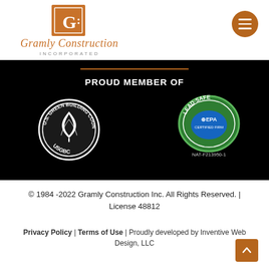[Figure (logo): Gramly Construction Incorporated logo with stylized GC monogram in orange square and cursive text]
[Figure (illustration): Hamburger menu button (orange circle with three white lines)]
PROUD MEMBER OF
[Figure (logo): U.S. Green Building Council USGBC circular badge in black and white]
[Figure (logo): Lead-Safe EPA Certified Firm badge, green circular badge, NAT-F213950-1]
© 1984 -2022 Gramly Construction Inc. All Rights Reserved. | License 48812
Privacy Policy | Terms of Use | Proudly developed by Inventive Web Design, LLC